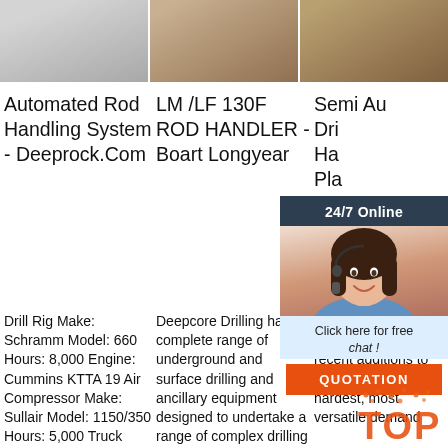[Figure (photo): Three product/equipment photos in a horizontal strip at the top of the page. Left: grey metallic equipment. Center: bronze/gold colored component. Right: small dark brown parts scattered.]
Automated Rod Handling System - Deeprock.Com
LM /LF 130F ROD HANDLER - Boart Longyear
Semi Au Dri Ha Pla
Drill Rig Make: Schramm Model: 660 Hours: 8,000 Engine: Cummins KTTA 19 Air Compressor Make: Sullair Model: 1150/350 Hours: 5,000 Truck Make: MAN Type: 8x
Deepcore Drilling has a complete range of underground and surface drilling and ancillary equipment designed to undertake a range of complex drilling
CO E D E10 esig even The most recent additions to the Sandvik the hardest, most versatile demand
[Figure (screenshot): 24/7 Online chat widget with dark blue header, photo of female customer service agent with headset, orange call-to-action button labeled QUOTATION and text Click here for free chat!]
[Figure (logo): Orange TOP stamp/watermark logo in bottom right corner with scattered dots above it]